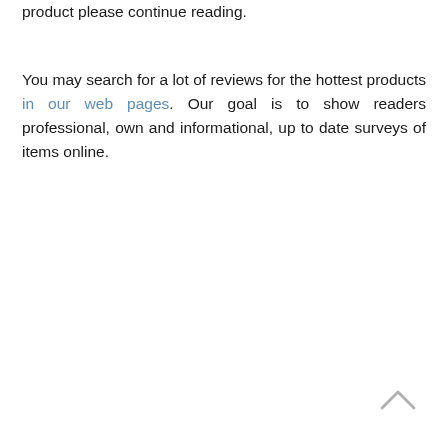product please continue reading.
You may search for a lot of reviews for the hottest products in our web pages. Our goal is to show readers professional, own and informational, up to date surveys of items online.